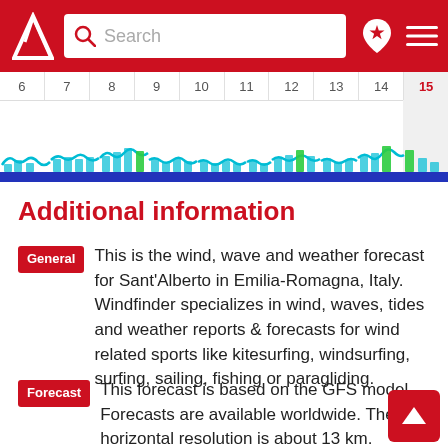Windfinder – Search header with logo and navigation
[Figure (other): Weather/wind forecast chart strip showing dates 6 through 15 with wave and wind data visualizations as colored bars in blue, cyan, and green]
Additional information
General  This is the wind, wave and weather forecast for Sant'Alberto in Emilia-Romagna, Italy. Windfinder specializes in wind, waves, tides and weather reports & forecasts for wind related sports like kitesurfing, windsurfing, surfing, sailing, fishing or paragliding.
Forecast  This forecast is based on the GFS model. Forecasts are available worldwide. The horizontal resolution is about 13 km. Forecasts are computed 4 times a day, at about 7:00 AM, 1:00 PM, 7:00 PM and 1:00 AM Central European Summer Time. Predictions are available in time steps of 3 hours for up to 10 days into the future. The arrows point in the direction in which the wind is blowing.